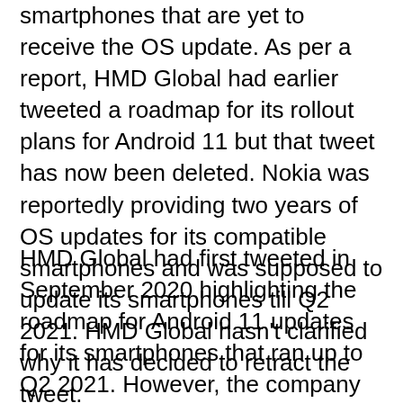smartphones that are yet to receive the OS update. As per a report, HMD Global had earlier tweeted a roadmap for its rollout plans for Android 11 but that tweet has now been deleted. Nokia was reportedly providing two years of OS updates for its compatible smartphones and was supposed to update its smartphones till Q2 2021. HMD Global hasn't clarified why it has decided to retract the tweet.
HMD Global had first tweeted in September 2020 highlighting the roadmap for Android 11 updates for its smartphones that ran up to Q2 2021. However, the company later removed the tweet and hasn't given any clarification on their move to retract the said tweet. The tweet was saved by Neowin, and